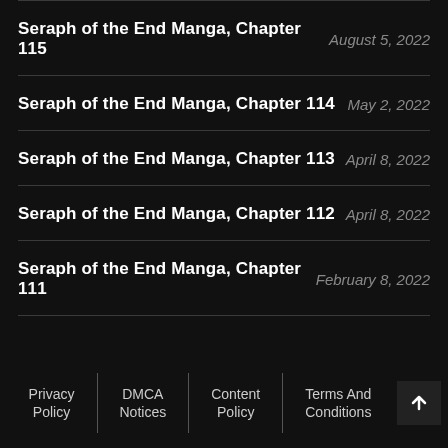Seraph of the End Manga, Chapter 115 | August 5, 2022
Seraph of the End Manga, Chapter 114 | May 2, 2022
Seraph of the End Manga, Chapter 113 | April 8, 2022
Seraph of the End Manga, Chapter 112 | April 8, 2022
Seraph of the End Manga, Chapter 111 | February 8, 2022
Privacy Policy | DMCA Notices | Content Policy | Terms And Conditions